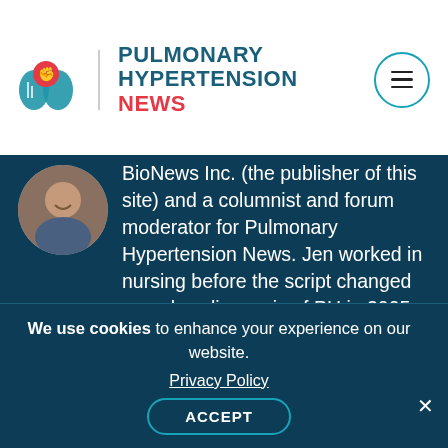[Figure (logo): Pulmonary Hypertension News logo with lung illustration and red thermometer icon]
PULMONARY HYPERTENSION NEWS
[Figure (photo): Circular profile photo of a smiling woman]
BioNews Inc. (the publisher of this site) and a columnist and forum moderator for Pulmonary Hypertension News. Jen worked in nursing before the script changed upon her diagnosis of PH in 2005. Advocating and meeting those with PH has always been an essential part of her life. Her passion is to instill hope and remind others in the PH community that they are not
We use cookies to enhance your experience on our website. Privacy Policy ACCEPT